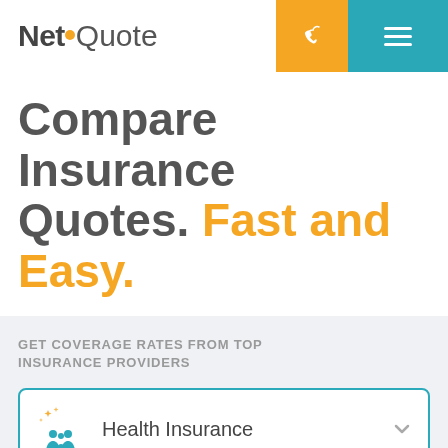[Figure (logo): NetQuote logo with orange dot accent]
Compare Insurance Quotes. Fast and Easy.
GET COVERAGE RATES FROM TOP INSURANCE PROVIDERS
Health Insurance